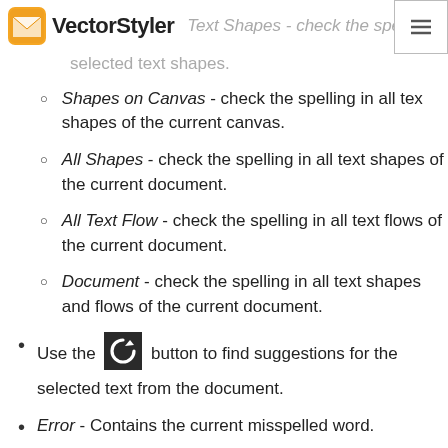VectorStyler  Text Shapes - check the spelling in the selected text shapes.
selected text shapes.
Shapes on Canvas - check the spelling in all text shapes of the current canvas.
All Shapes - check the spelling in all text shapes of the current document.
All Text Flow - check the spelling in all text flows of the current document.
Document - check the spelling in all text shapes and flows of the current document.
Use the [icon] button to find suggestions for the selected text from the document.
Error - Contains the current misspelled word.